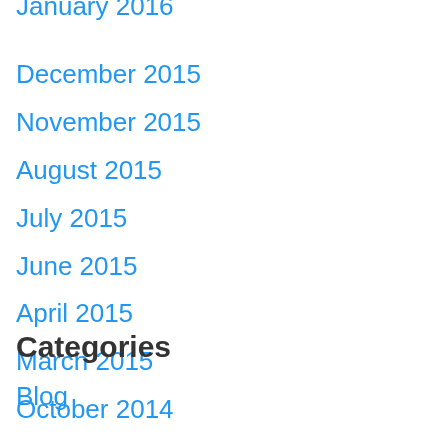January 2016
December 2015
November 2015
August 2015
July 2015
June 2015
April 2015
March 2015
October 2014
Categories
Blog